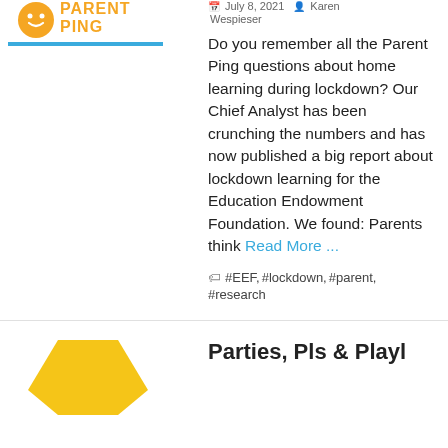[Figure (logo): Parent Ping logo - orange and yellow with blue underline]
July 8, 2021  Karen Wespieser
Do you remember all the Parent Ping questions about home learning during lockdown? Our Chief Analyst has been crunching the numbers and has now published a big report about lockdown learning for the Education Endowment Foundation. We found: Parents think Read More ...
#EEF, #lockdown, #parent, #research
[Figure (logo): Yellow hexagonal shape - partial logo at bottom]
Parties, Pls & Playl